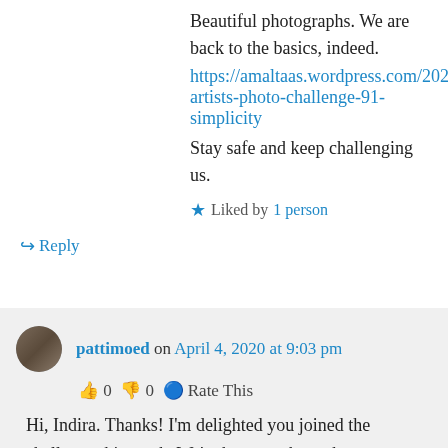Beautiful photographs. We are back to the basics, indeed.
https://amaltaas.wordpress.com/2020/04/04/lens-artists-photo-challenge-91-simplicity
Stay safe and keep challenging us.
★ Liked by 1 person
↪ Reply
pattimoed on April 4, 2020 at 9:03 pm
👍 0 👎 0 ℹ Rate This
Hi, Indira. Thanks! I'm delighted you joined the challenge this week. We're happy to keep the challenges going! I appreciate your kind words.